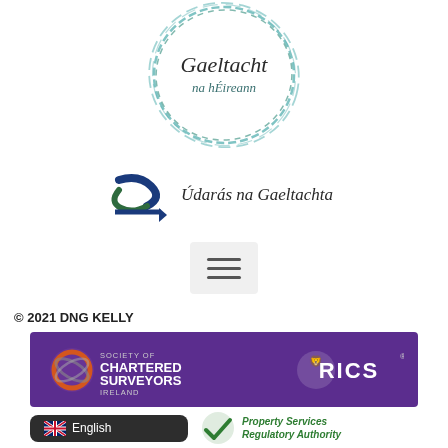[Figure (logo): Gaeltacht na hÉireann circular logo with teal/green brush-stroke circles and stylized script text]
[Figure (logo): Údarás na Gaeltachta logo with blue and green S-shaped graphic and italic text]
[Figure (other): Hamburger/menu icon with three horizontal lines on a light grey rounded background]
© 2021 DNG KELLY
[Figure (logo): Purple banner showing Society of Chartered Surveyors Ireland logo on the left and RICS lion logo on the right]
[Figure (other): English language selection button with UK flag emoji, and Property Services Regulatory Authority logo partially visible]